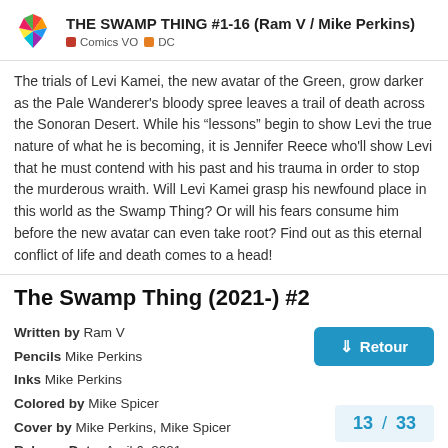THE SWAMP THING #1-16 (Ram V / Mike Perkins) — Comics VO | DC
The trials of Levi Kamei, the new avatar of the Green, grow darker as the Pale Wanderer's bloody spree leaves a trail of death across the Sonoran Desert. While his “lessons” begin to show Levi the true nature of what he is becoming, it is Jennifer Reece who'll show Levi that he must contend with his past and his trauma in order to stop the murderous wraith. Will Levi Kamei grasp his newfound place in this world as the Swamp Thing? Or will his fears consume him before the new avatar can even take root? Find out as this eternal conflict of life and death comes to a head!
The Swamp Thing (2021-) #2
Written by Ram V
Pencils Mike Perkins
Inks Mike Perkins
Colored by Mike Spicer
Cover by Mike Perkins, Mike Spicer
Release Date: April 6, 2021